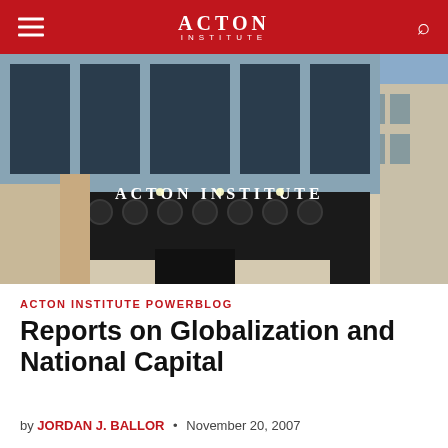ACTON INSTITUTE
[Figure (photo): Exterior photograph of the Acton Institute building, showing the entrance with 'Acton Institute' signage on a dark canopy, large windows, and brick facade]
ACTON INSTITUTE POWERBLOG
Reports on Globalization and National Capital
by JORDAN J. BALLOR • November 20, 2007